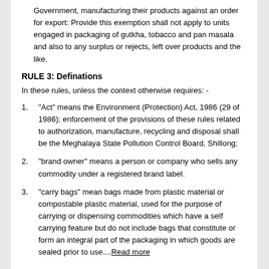Government, manufacturing their products against an order for export: Provide this exemption shall not apply to units engaged in packaging of gutkha, tobacco and pan masala and also to any surplus or rejects, left over products and the like.
RULE 3: Definations
In these rules, unless the context otherwise requires: -
"Act" means the Environment (Protection) Act, 1986 (29 of 1986); enforcement of the provisions of these rules related to authorization, manufacture, recycling and disposal shall be the Meghalaya State Pollution Control Board, Shillong;
"brand owner" means a person or company who sells any commodity under a registered brand label.
"carry bags" mean bags made from plastic material or compostable plastic material, used for the purpose of carrying or dispensing commodities which have a self carrying feature but do not include bags that constitute or form an integral part of the packaging in which goods are sealed prior to use....Read more